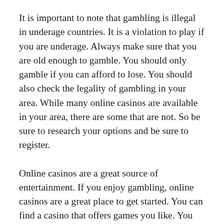It is important to note that gambling is illegal in underage countries. It is a violation to play if you are underage. Always make sure that you are old enough to gamble. You should only gamble if you can afford to lose. You should also check the legality of gambling in your area. While many online casinos are available in your area, there are some that are not. So be sure to research your options and be sure to register.
Online casinos are a great source of entertainment. If you enjoy gambling, online casinos are a great place to get started. You can find a casino that offers games you like. You can also sign up as a member in a casino that offers bonuses to new users. It can take two years to break even for an online casino, but the benefits are worth it. Just make sure that you understand the terms and conditions of each site before joining.